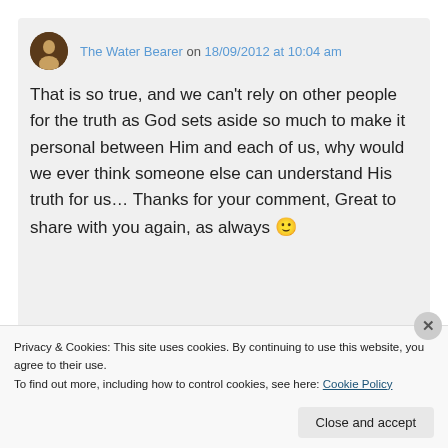The Water Bearer on 18/09/2012 at 10:04 am
That is so true, and we can't rely on other people for the truth as God sets aside so much to make it personal between Him and each of us, why would we ever think someone else can understand His truth for us… Thanks for your comment, Great to share with you again, as always 🙂
Privacy & Cookies: This site uses cookies. By continuing to use this website, you agree to their use.
To find out more, including how to control cookies, see here: Cookie Policy
Close and accept